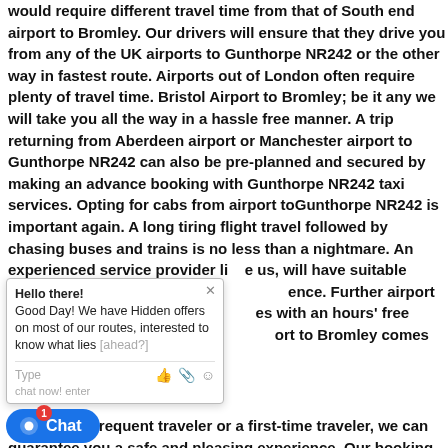would require different travel time from that of South end airport to Bromley. Our drivers will ensure that they drive you from any of the UK airports to Gunthorpe NR242 or the other way in fastest route. Airports out of London often require plenty of travel time. Bristol Airport to Bromley; be it any we will take you all the way in a hassle free manner. A trip returning from Aberdeen airport or Manchester airport to Gunthorpe NR242 can also be pre-planned and secured by making an advance booking with Gunthorpe NR242 taxi services. Opting for cabs from airport toGunthorpe NR242 is important again. A long tiring flight travel followed by chasing buses and trains is no less than a nightmare. An experienced service provider like us, will have suitable drivers who will wait for you a[t the conveni]ence. Further airport transfers with Bromley stati[on also com]es with an hours' free waiting time, so with us, trave[l from any airp]ort to Bromley comes with ease and peace.
Our [Fleets]:
Whet[her you are a f]requent traveler or a first-time traveler, we can guarantee you a safe and pleasing experience. Our booking [is] as simple as making it online by filling the form above, initiating a live chat and seek support from our lively controllers
[Figure (screenshot): Chat widget popup overlay showing 'Hello there! Good Day! We have Hidden offers on most of our routes, interested to know what lies [ahead?]' with a Type input bar and emoji/attachment icons, plus a blue Chat button with red notification badge showing 1.]